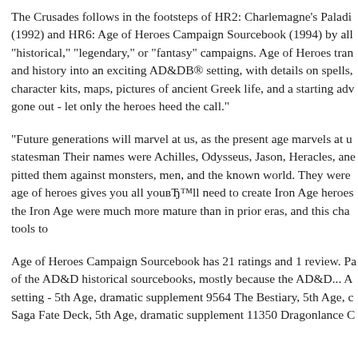The Crusades follows in the footsteps of HR2: Charlemagne's Paladi (1992) and HR6: Age of Heroes Campaign Sourcebook (1994) by all "historical," "legendary," or "fantasy" campaigns. Age of Heroes tran and history into an exciting AD&DB® setting, with details on spells, character kits, maps, pictures of ancient Greek life, and a starting adv gone out - let only the heroes heed the call."
"Future generations will marvel at us, as the present age marvels at u statesman Their names were Achilles, Odysseus, Jason, Heracles, ane pitted them against monsters, men, and the known world. They were age of heroes gives you all youвЂ™ll need to create Iron Age heroes the Iron Age were much more mature than in prior eras, and this cha tools to
Age of Heroes Campaign Sourcebook has 21 ratings and 1 review. Pa of the AD&D historical sourcebooks, mostly because the AD&D... A setting - 5th Age, dramatic supplement 9564 The Bestiary, 5th Age, c Saga Fate Deck, 5th Age, dramatic supplement 11350 Dragonlance C